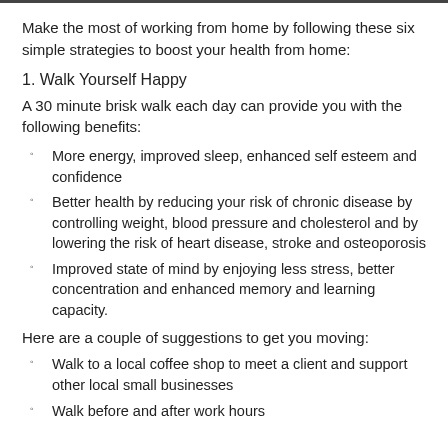Make the most of working from home by following these six simple strategies to boost your health from home:
1. Walk Yourself Happy
A 30 minute brisk walk each day can provide you with the following benefits:
More energy, improved sleep, enhanced self esteem and confidence
Better health by reducing your risk of chronic disease by controlling weight, blood pressure and cholesterol and by lowering the risk of heart disease, stroke and osteoporosis
Improved state of mind by enjoying less stress, better concentration and enhanced memory and learning capacity.
Here are a couple of suggestions to get you moving:
Walk to a local coffee shop to meet a client and support other local small businesses
Walk before and after work hours